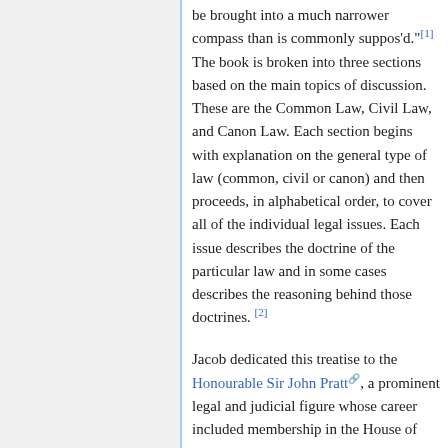be brought into a much narrower compass than is commonly suppos'd."[1] The book is broken into three sections based on the main topics of discussion. These are the Common Law, Civil Law, and Canon Law. Each section begins with explanation on the general type of law (common, civil or canon) and then proceeds, in alphabetical order, to cover all of the individual legal issues. Each issue describes the doctrine of the particular law and in some cases describes the reasoning behind those doctrines. [2]
Jacob dedicated this treatise to the Honourable Sir John Pratt, a prominent legal and judicial figure whose career included membership in the House of Commons as well as receiving